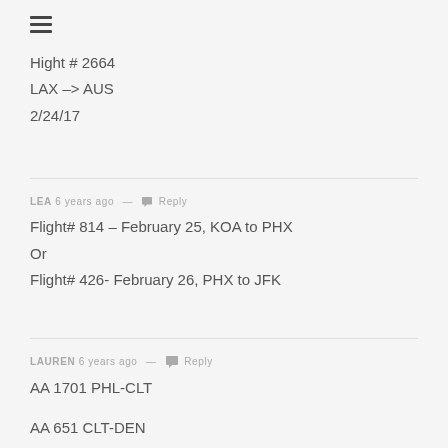Hight # 2664
LAX -> AUS
2/24/17
LEA 6 years ago — Reply
Flight# 814 – February 25, KOA to PHX
Or
Flight# 426- February 26, PHX to JFK
LAUREN 6 years ago — Reply
AA 1701 PHL-CLT
AA 651 CLT-DEN